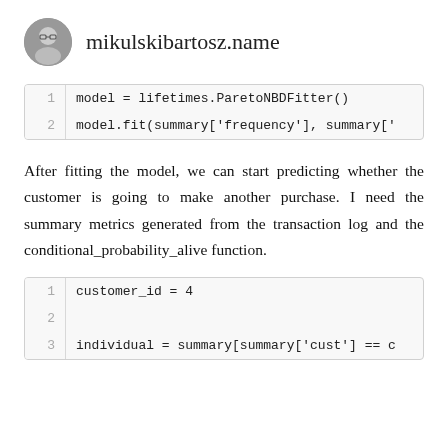mikulskibartosz.name
[Figure (other): Code block with line numbers showing: 1: model = lifetimes.ParetoNBDFitter()  2: model.fit(summary['frequency'], summary[']
After fitting the model, we can start predicting whether the customer is going to make another purchase. I need the summary metrics generated from the transaction log and the conditional_probability_alive function.
[Figure (other): Code block with line numbers showing: 1: customer_id = 4  2: (empty)  3: individual = summary[summary['cust'] == c]